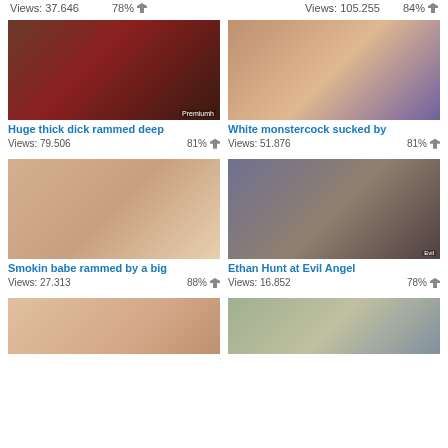Views: 37.646   78%   Views: 105.255   84%
[Figure (photo): Video thumbnail showing interracial adult content]
Huge thick dick rammed deep
Views: 79.506   81%
[Figure (photo): Video thumbnail showing adult content with redhead woman]
White monstercock sucked by
Views: 51.876   81%
[Figure (photo): Video thumbnail showing adult content]
Smokin babe rammed by a big
Views: 27.313   88%
[Figure (photo): Video thumbnail - Ethan Hunt at Evil Angel]
Ethan Hunt at Evil Angel
Views: 16.852   78%
[Figure (photo): Video thumbnail - partial view]
[Figure (photo): Video thumbnail - partial view]